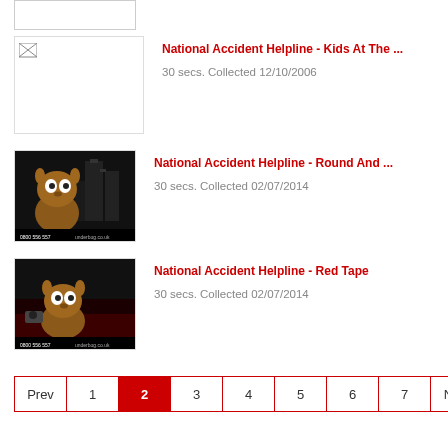[Figure (screenshot): Partial thumbnail image at top, mostly white/cropped]
[Figure (screenshot): National Accident Helpline Kids At The... thumbnail, broken image icon]
National Accident Helpline - Kids At The ...
30 secs. Collected 12/10/2006
[Figure (screenshot): National Accident Helpline Round And... thumbnail showing cartoon animal character in dark city scene]
National Accident Helpline - Round And ...
30 secs. Collected 02/07/2014
[Figure (screenshot): National Accident Helpline Red Tape thumbnail showing cartoon animal character in dark red scene]
National Accident Helpline - Red Tape
30 secs. Collected 02/07/2014
Prev 1 2 3 4 5 6 7 Next (66 pages)